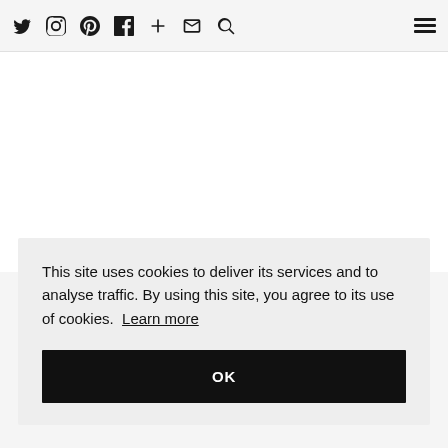Twitter Instagram Pinterest Facebook + Mail Search [hamburger menu]
[Figure (photo): Blank white image area, likely a food/cake photograph that is not fully loaded or is obscured]
LEMON, POPPYSEED AND ELDERFLOWER CAKE
This site uses cookies to deliver its services and to analyse traffic. By using this site, you agree to its use of cookies. Learn more
OK